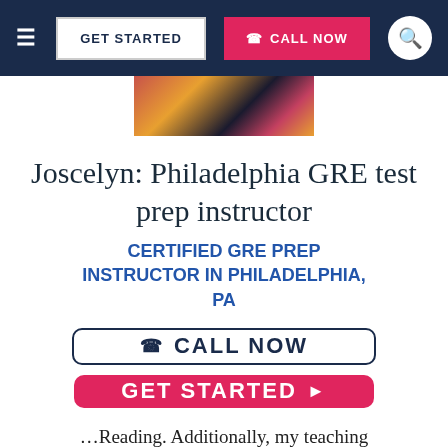GET STARTED  CALL NOW
[Figure (photo): Partial view of a person with colorful hair (red, blonde, dark streaks) cropped at top]
Joscelyn: Philadelphia GRE test prep instructor
CERTIFIED GRE PREP INSTRUCTOR IN PHILADELPHIA, PA
CALL NOW
GET STARTED ▶
…Reading. Additionally, my teaching